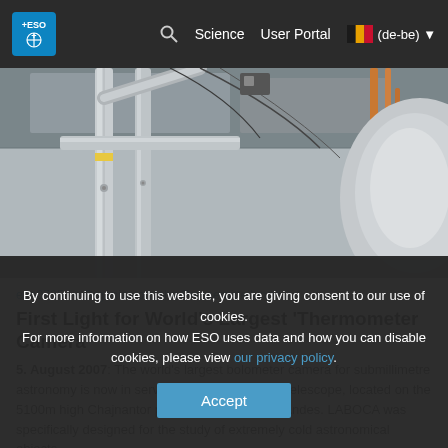ESO — Science   User Portal   (de-be)
[Figure (photo): Close-up photograph of large metallic/silver scientific equipment pipes and structures, likely components of the LABOCA bolometer camera or APEX telescope infrastructure, taken indoors against a grey background.]
eso0735 — Organisatorische Pressemitteilung
First Light for World's Largest 'Thermometer Camera'
5. August 2007: The world's largest bolometer camera for submillimetre astronomy is now in service at the 12-m APEX telescope, located on the 5100m high Chajnantor plateau in the Chilean Andes. LABOCA was specifically designed for the study of extremely cold astronomical objects
By continuing to use this website, you are giving consent to our use of cookies.
For more information on how ESO uses data and how you can disable cookies, please view our privacy policy.
Accept